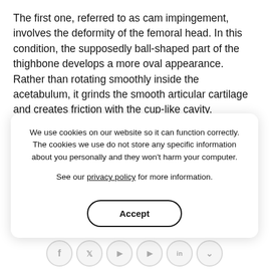The first one, referred to as cam impingement, involves the deformity of the femoral head. In this condition, the supposedly ball-shaped part of the thighbone develops a more oval appearance. Rather than rotating smoothly inside the acetabulum, it grinds the smooth articular cartilage and creates friction with the cup-like cavity.
The second type, called pincer impingement, happens when the acetabular socket is excessively deep. Extra bone grows and extends the socket's rim further, causing the neck of the thighbone to bump on it during movement. With this said, it is worth noting that it is also possible to have cam and pincer impingement at the same time.
We use cookies on our website so it can function correctly. The cookies we use do not store any specific information about you personally and they won't harm your computer. See our privacy policy for more information.